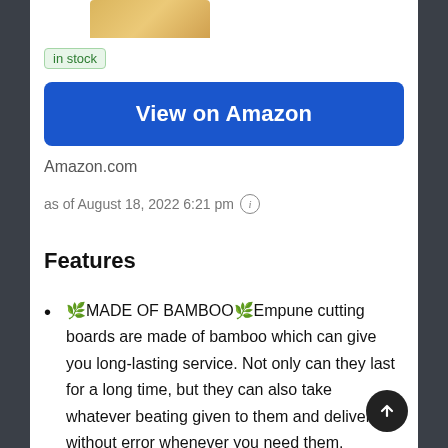[Figure (photo): Partial view of a bamboo cutting board product image at top of page]
in stock
View on Amazon
Amazon.com
as of August 18, 2022 6:21 pm ⓘ
Features
🌿MADE OF BAMBOO🌿Empune cutting boards are made of bamboo which can give you long-lasting service. Not only can they last for a long time, but they can also take whatever beating given to them and deliver without error whenever you need them. Bamboo